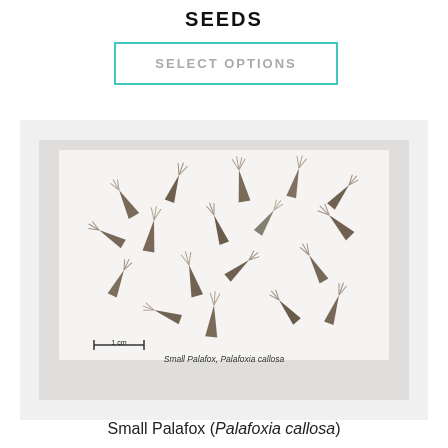SEEDS
SELECT OPTIONS
[Figure (photo): Close-up photo of Small Palafox (Palafoxia callosa) seeds scattered on a light background, with a 1 cm scale bar and caption 'Small Palafox, Palafoxia callosa']
Small Palafox (Palafoxia callosa)